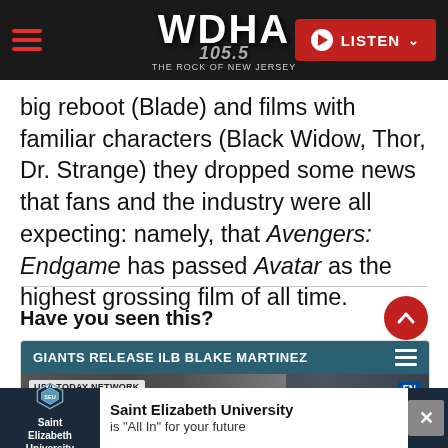WDHA 105.5 – The Rock of New Jersey | LISTEN
big reboot (Blade) and films with familiar characters (Black Widow, Thor, Dr. Strange) they dropped some news that fans and the industry were all expecting: namely, that Avengers: Endgame has passed Avatar as the highest grossing film of all time.
Have you seen this?
[Figure (screenshot): News card with teal header reading 'GIANTS RELEASE ILB BLAKE MARTINEZ', USA Today Network branding, and a video thumbnail image showing sports/event footage with an FN badge.]
[Figure (screenshot): Advertisement banner for Saint Elizabeth University with text 'Saint Elizabeth University is All In for your future' and a close (X) button.]